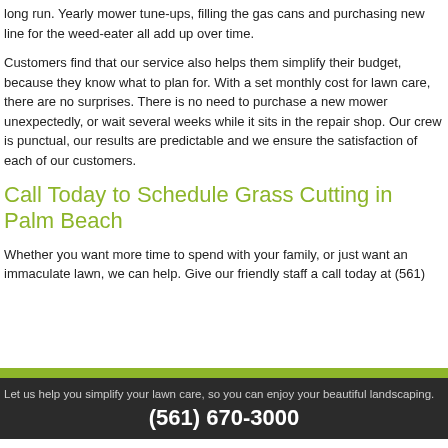long run. Yearly mower tune-ups, filling the gas cans and purchasing new line for the weed-eater all add up over time.
Customers find that our service also helps them simplify their budget, because they know what to plan for. With a set monthly cost for lawn care, there are no surprises. There is no need to purchase a new mower unexpectedly, or wait several weeks while it sits in the repair shop. Our crew is punctual, our results are predictable and we ensure the satisfaction of each of our customers.
Call Today to Schedule Grass Cutting in Palm Beach
Whether you want more time to spend with your family, or just want an immaculate lawn, we can help. Give our friendly staff a call today at (561)
[Figure (other): Green bar with white phone icon]
Let us help you simplify your lawn care, so you can enjoy your beautiful landscaping.
(561) 670-3000